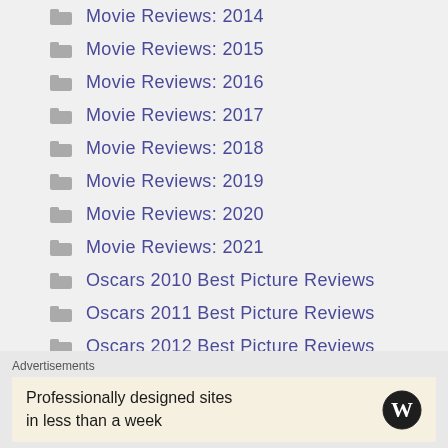Movie Reviews: 2014
Movie Reviews: 2015
Movie Reviews: 2016
Movie Reviews: 2017
Movie Reviews: 2018
Movie Reviews: 2019
Movie Reviews: 2020
Movie Reviews: 2021
Oscars 2010 Best Picture Reviews
Oscars 2011 Best Picture Reviews
Oscars 2012 Best Picture Reviews
Oscars 2013 Best Picture Reviews (partial)
Advertisements
Professionally designed sites in less than a week